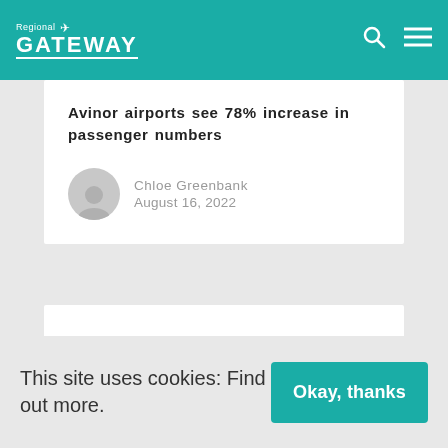Regional Gateway
Avinor airports see 78% increase in passenger numbers
Chloe Greenbank
August 16, 2022
[Figure (other): Blank white content/advertisement box]
This site uses cookies: Find out more.